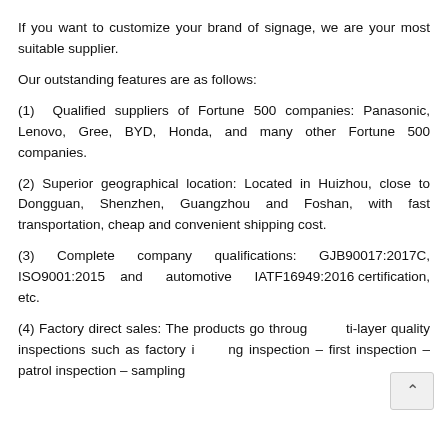If you want to customize your brand of signage, we are your most suitable supplier.
Our outstanding features are as follows:
(1)  Qualified suppliers of Fortune 500 companies: Panasonic, Lenovo, Gree, BYD, Honda, and many other Fortune 500 companies.
(2) Superior geographical location: Located in Huizhou, close to Dongguan, Shenzhen, Guangzhou and Foshan, with fast transportation, cheap and convenient shipping cost.
(3) Complete company qualifications: GJB90017:2017C, ISO9001:2015 and automotive IATF16949:2016 certification, etc.
(4) Factory direct sales: The products go through multi-layer quality inspections such as factory incoming inspection – first inspection – patrol inspection – sampling